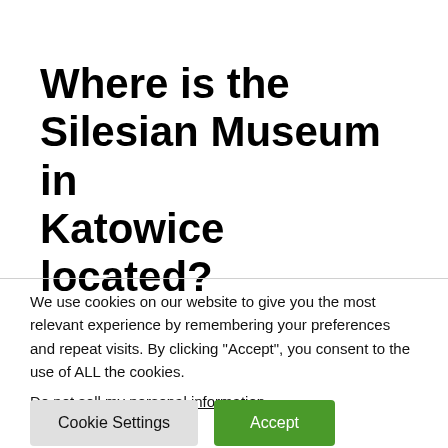Where is the Silesian Museum in Katowice located?
We use cookies on our website to give you the most relevant experience by remembering your preferences and repeat visits. By clicking “Accept”, you consent to the use of ALL the cookies.
Do not sell my personal information.